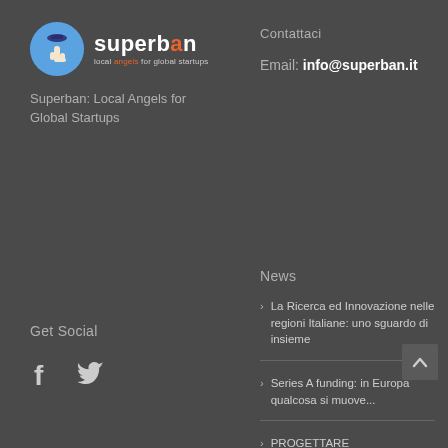[Figure (logo): Superban logo with blue circle containing a hand with pointing finger icon, next to the text 'superban' in white with 'n' in orange, and tagline 'local angels for global startups']
Superban: Local Angels for Global Startups
Contattaci
Email: info@superban.it
Get Social
[Figure (illustration): Facebook 'f' icon in light grey]
[Figure (illustration): Twitter bird icon in light grey]
News
> La Ricerca ed Innovazione nelle regioni Italiane: uno sguardo di insieme
> Series A funding: in Europa qualcosa si muove...
> PROGETTARE L'INNOVAZIONE: Dall'idea al mercato: i percorsi e gli